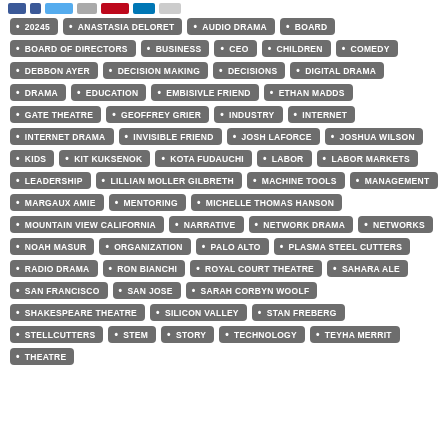Social sharing buttons
20245
ANASTASIA DELORET
AUDIO DRAMA
BOARD
BOARD OF DIRECTORS
BUSINESS
CEO
CHILDREN
COMEDY
DEBBON AYER
DECISION MAKING
DECISIONS
DIGITAL DRAMA
DRAMA
EDUCATION
EMBISIVLE FRIEND
ETHAN MADDS
GATE THEATRE
GEOFFREY GRIER
INDUSTRY
INTERNET
INTERNET DRAMA
INVISIBLE FRIEND
JOSH LAFORCE
JOSHUA WILSON
KIDS
KIT KUKSENOK
KOTA FUDAUCHI
LABOR
LABOR MARKETS
LEADERSHIP
LILLIAN MOLLER GILBRETH
MACHINE TOOLS
MANAGEMENT
MARGAUX AMIE
MENTORING
MICHELLE THOMAS HANSON
MOUNTAIN VIEW CALIFORNIA
NARRATIVE
NETWORK DRAMA
NETWORKS
NOAH MASUR
ORGANIZATION
PALO ALTO
PLASMA STEEL CUTTERS
RADIO DRAMA
RON BIANCHI
ROYAL COURT THEATRE
SAHARA ALE
SAN FRANCISCO
SAN JOSE
SARAH CORBYN WOOLF
SHAKESPEARE THEATRE
SILICON VALLEY
STAN FREBERG
STELLCUTTERS
STEM
STORY
TECHNOLOGY
TEYHA MERRIT
THEATRE